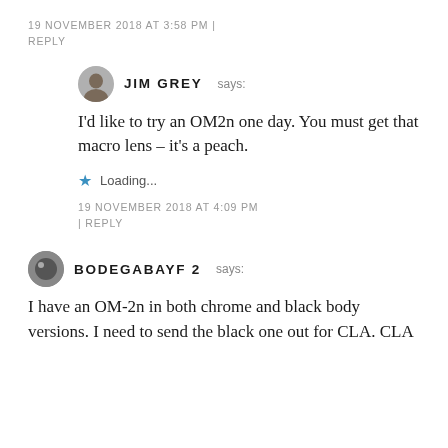19 NOVEMBER 2018 AT 3:58 PM | REPLY
JIM GREY says:
I'd like to try an OM2n one day. You must get that macro lens – it's a peach.
Loading...
19 NOVEMBER 2018 AT 4:09 PM | REPLY
BODEGABAYF2 says:
I have an OM-2n in both chrome and black body versions. I need to send the black one out for CLA. CLA